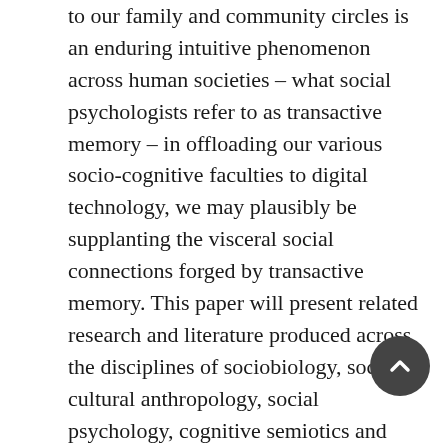to our family and community circles is an enduring intuitive phenomenon across human societies – what social psychologists refer to as transactive memory – in offloading our various socio-cognitive faculties to digital technology, we may plausibly be supplanting the visceral social connections forged by transactive memory. This paper will present related research and literature produced across the disciplines of sociobiology, socio-cultural anthropology, social psychology, cognitive semiotics and communication and media studies that directly and indirectly address the social precarity cultivated by digital technologies. This body of scholarly work will then be situated within common areas of interest belonging to digital anthropology, including the groundbreaking work of Pavel Curtis, Christopher Kelty, Lynn Cherny, Vincent Duclos, Nick Seaver, and Sherry Turkle. It is anticipated that in harmonizing these overlapping areas of